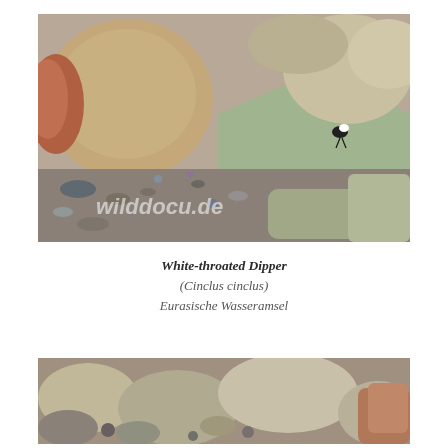[Figure (photo): White-throated Dipper bird standing on rocky riverbed with large boulders and gravel. Watermark reads 'wilddocu.de' in lower left area.]
White-throated Dipper
(Cinclus cinclus)
Eurasische Wasseramsel
[Figure (photo): Close-up of rocky riverbed with pebbles and boulders, partial view of White-throated Dipper bird.]